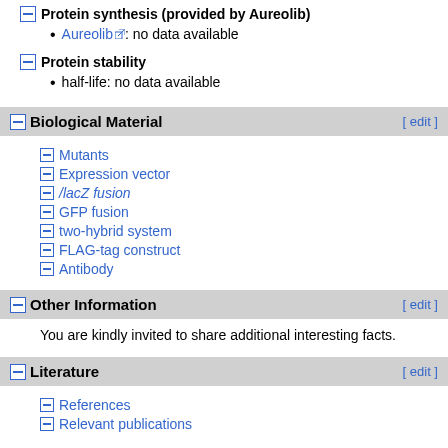Protein synthesis (provided by Aureolib)
Aureolib: no data available
Protein stability
half-life: no data available
Biological Material [edit]
Mutants
Expression vector
/lacZ fusion
GFP fusion
two-hybrid system
FLAG-tag construct
Antibody
Other Information [edit]
You are kindly invited to share additional interesting facts.
Literature [edit]
References
Relevant publications